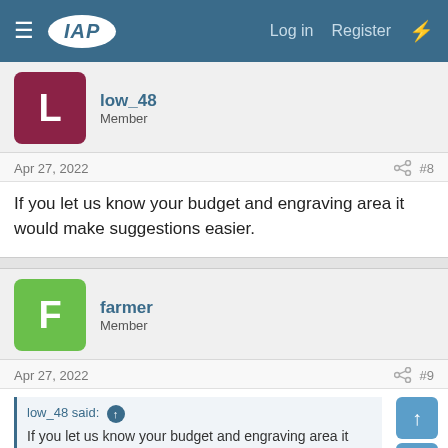IAP — Log in  Register
low_48
Member
Apr 27, 2022  #8
If you let us know your budget and engraving area it would make suggestions easier.
farmer
Member
Apr 27, 2022  #9
low_48 said: ↑
If you let us know your budget and engraving area it would make suggestions easier.
My main priority is to cut the veneer inlays.